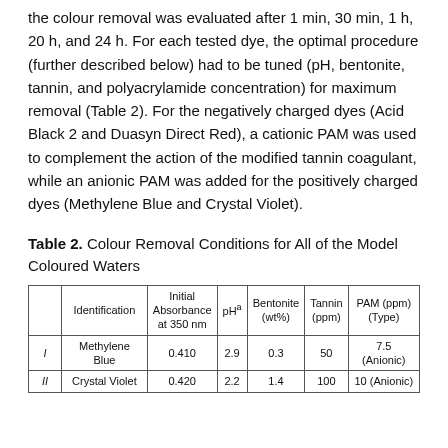the colour removal was evaluated after 1 min, 30 min, 1 h, 20 h, and 24 h. For each tested dye, the optimal procedure (further described below) had to be tuned (pH, bentonite, tannin, and polyacrylamide concentration) for maximum removal (Table 2). For the negatively charged dyes (Acid Black 2 and Duasyn Direct Red), a cationic PAM was used to complement the action of the modified tannin coagulant, while an anionic PAM was added for the positively charged dyes (Methylene Blue and Crystal Violet).
Table 2. Colour Removal Conditions for All of the Model Coloured Waters
|  | Identification | Initial Absorbance at 350 nm | pHa | Bentonite (wt%) | Tannin (ppm) | PAM (ppm) (Type) |
| --- | --- | --- | --- | --- | --- | --- |
| I | Methylene Blue | 0.410 | 2.9 | 0.3 | 50 | 7.5 (Anionic) |
| II | Crystal Violet | 0.420 | 2.2 | 1.4 | 100 | 10 (Anionic) |